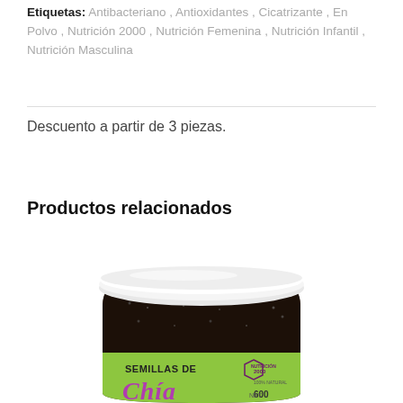Etiquetas: Antibacteriano, Antioxidantes, Cicatrizante, En Polvo, Nutrición 2000, Nutrición Femenina, Nutrición Infantil, Nutrición Masculina
Descuento a partir de 3 piezas.
Productos relacionados
[Figure (photo): A jar of Semillas de Chía from Nutrición 2000, 600g, with a white lid, dark chia seeds visible through the glass/plastic jar, and a green and pink label.]